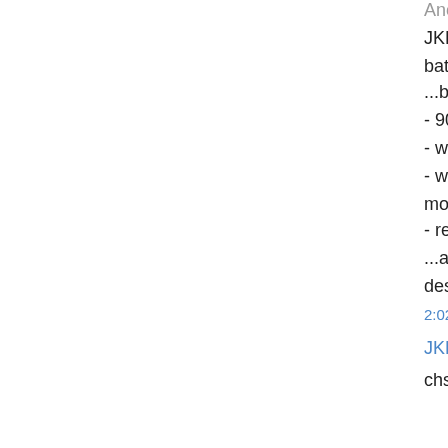Anonymous said...
JKK: I had the same thoughts. 900 looks much battery with 7800mAh, it has superior battery life ...but then the 901 arrived. Hmmm, yes, the 900- 901 is not that much bigger than the 900 - without WIFI much more than 6h battery life - with WIFI about 5h battery life like my 900 with more - really a performance boost! ...and finally i built in a fast Samsung 32GB SSD desktop replacement but hey, much more than j
2:02 PM
JKK said...
chs, yep, 901 sound way better for you!
I too like it, but again, on my use/needs 900 win
I will be testing the battery life etc on 901 next w many times....
2:07 PM
Greg said...
jkk --
I have a 4G Eee 701 and will be taking it soon o